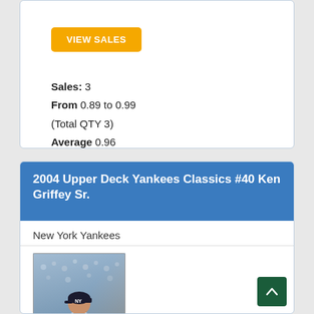VIEW SALES
Sales: 3
From 0.89 to 0.99
(Total QTY 3)
Average 0.96
2004 Upper Deck Yankees Classics #40 Ken Griffey Sr.
New York Yankees
[Figure (photo): Baseball card image: 2004 Upper Deck Yankees Classics #40 Ken Griffey Sr., showing player in Yankees uniform batting or running, with 'Yankees Classics' text at bottom and Yankees logo.]